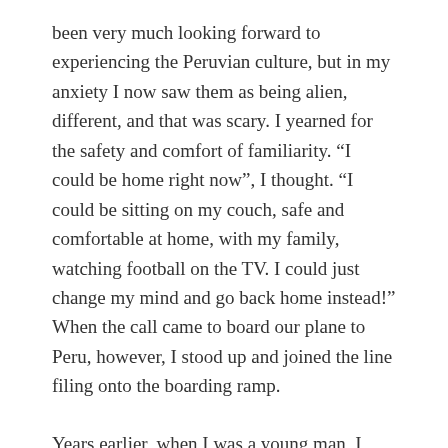been very much looking forward to experiencing the Peruvian culture, but in my anxiety I now saw them as being alien, different, and that was scary. I yearned for the safety and comfort of familiarity. “I could be home right now”, I thought. “I could be sitting on my couch, safe and comfortable at home, with my family, watching football on the TV. I could just change my mind and go back home instead!” When the call came to board our plane to Peru, however, I stood up and joined the line filing onto the boarding ramp.
Years earlier, when I was a young man, I went sky diving. Once. It was important to me at the time to do something that I knew logically was safe but that would scare the beejeebees out of me. I wanted to demonstrate to myself that I would not let fear, a fear that was not grounded upon real danger, stop me from